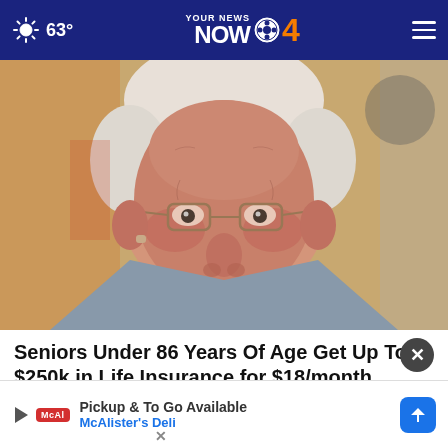63° YOUR NEWS NOW CBS 4
[Figure (photo): Close-up photo of an elderly man with white hair wearing glasses and a grey blazer, looking directly at camera with a neutral expression.]
Seniors Under 86 Years Of Age Get Up To $250k in Life Insurance for $18/month
Smart Lifestyle Trends
[Figure (screenshot): Advertisement banner for McAlister's Deli showing Pickup & To Go Available text with McAlister's logo and navigation arrow icon.]